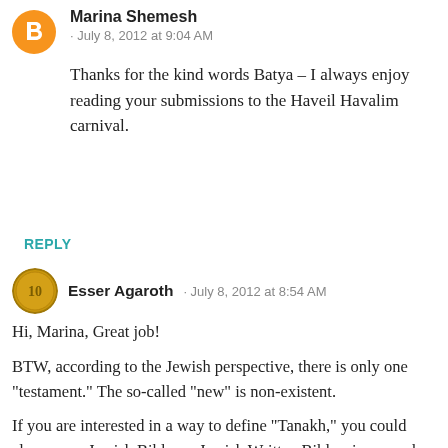Marina Shemesh
· July 8, 2012 at 9:04 AM
Thanks for the kind words Batya – I always enjoy reading your submissions to the Haveil Havalim carnival.
REPLY
Esser Agaroth · July 8, 2012 at 8:54 AM
Hi, Marina, Great job!
BTW, according to the Jewish perspective, there is only one "testament." The so-called "new" is non-existent.
If you are interested in a way to define "Tanakh," you could always say Jewish Bible, or Jewish Written Bible, since much in